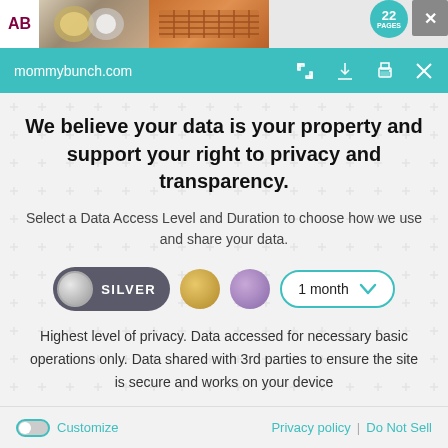[Figure (screenshot): Top advertisement bar with AB label, food images, badge showing 22, and close button]
mommybunch.com
We believe your data is your property and support your right to privacy and transparency.
Select a Data Access Level and Duration to choose how we use and share your data.
[Figure (infographic): Privacy level selector row with SILVER toggle button, gold dot, purple dot, and 1 month dropdown]
Highest level of privacy. Data accessed for necessary basic operations only. Data shared with 3rd parties to ensure the site is secure and works on your device
[Figure (infographic): Save my preferences button (teal/green rounded button)]
Customize   Privacy policy | Do Not Sell